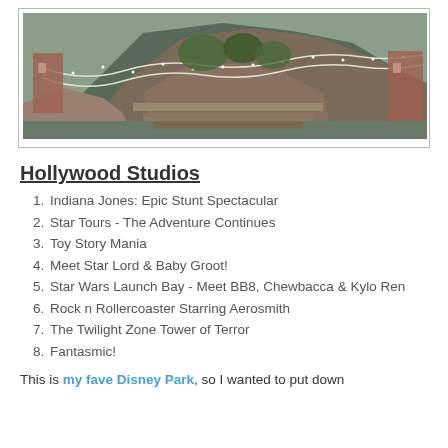[Figure (photo): Outdoor photo of a Disney theme park area (likely Expedition Everest or similar attraction) with rocky mountain structure, hanging bridge decorations, and overcast sky]
Hollywood Studios
Indiana Jones: Epic Stunt Spectacular
Star Tours - The Adventure Continues
Toy Story Mania
Meet Star Lord & Baby Groot!
Star Wars Launch Bay - Meet BB8, Chewbacca & Kylo Ren
Rock n Rollercoaster Starring Aerosmith
The Twilight Zone Tower of Terror
Fantasmic!
This is my fave Disney Park, so I wanted to put down